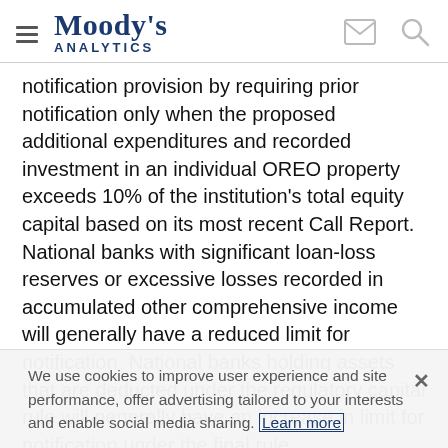Moody's Analytics
notification provision by requiring prior notification only when the proposed additional expenditures and recorded investment in an individual OREO property exceeds 10% of the institution's total equity capital based on its most recent Call Report. National banks with significant loan-loss reserves or excessive losses recorded in accumulated other comprehensive income will generally have a reduced limit for notification. National banks holding assets that are deducted under the regulatory capital rule will generally have an increase in limit for notification under the final rule
We use cookies to improve user experience and site performance, offer advertising tailored to your interests and enable social media sharing. Learn more